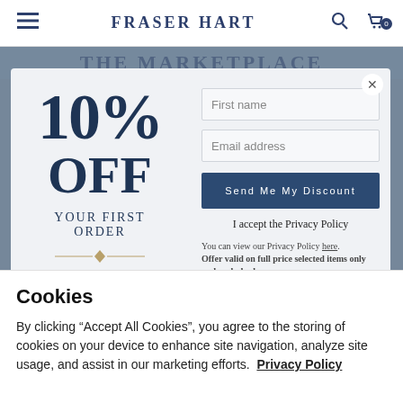FRASER HART
THE MARKETPLACE
[Figure (screenshot): Modal popup offering 10% OFF YOUR FIRST ORDER with First name and Email address input fields, a 'Send Me My Discount' button, privacy policy checkbox text, and a close button.]
First name
Email address
Send Me My Discount
I accept the Privacy Policy
You can view our Privacy Policy here. Offer valid on full price selected items only and excludes luxury
Cookies
By clicking “Accept All Cookies”, you agree to the storing of cookies on your device to enhance site navigation, analyze site usage, and assist in our marketing efforts.  Privacy Policy